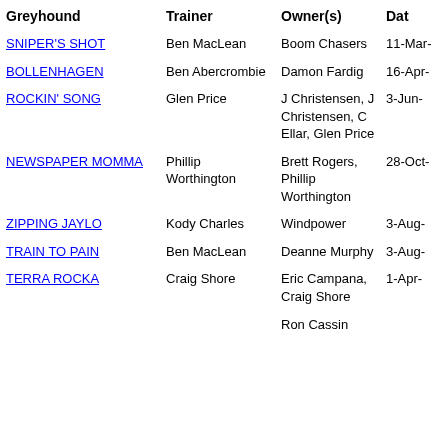| Greyhound | Trainer | Owner(s) | Dat |
| --- | --- | --- | --- |
| SNIPER'S SHOT | Ben MacLean | Boom Chasers | 11-Mar- |
| BOLLENHAGEN | Ben Abercrombie | Damon Fardig | 16-Apr- |
| ROCKIN' SONG | Glen Price | J Christensen, J Christensen, C Ellar, Glen Price | 3-Jun- |
| NEWSPAPER MOMMA | Phillip Worthington | Brett Rogers, Phillip Worthington | 28-Oct- |
| ZIPPING JAYLO | Kody Charles | Windpower | 3-Aug- |
| TRAIN TO PAIN | Ben MacLean | Deanne Murphy | 3-Aug- |
| TERRA ROCKA | Craig Shore | Eric Campana, Craig Shore | 1-Apr- |
|  |  | Ron Cassin |  |